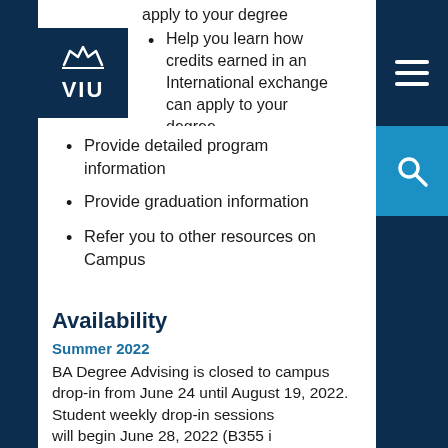[Figure (logo): VIU logo with ship/wave icon on dark navy background]
apply to your degree
Help you learn how credits earned in an International exchange can apply to your degree
Provide detailed program information
Provide graduation information
Refer you to other resources on Campus
Availability
Summer 2022
BA Degree Advising is closed to campus drop-in from June 24 until August 19, 2022.
Student weekly drop-in sessions